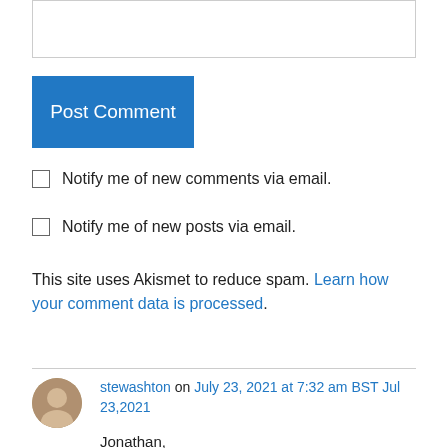[Figure (other): Text input / textarea box (partially visible at top)]
Post Comment
Notify me of new comments via email.
Notify me of new posts via email.
This site uses Akismet to reduce spam. Learn how your comment data is processed.
stewashton on July 23, 2021 at 7:32 am BST Jul 23,2021
Jonathan,
It would be more precise to say that SQL *table*